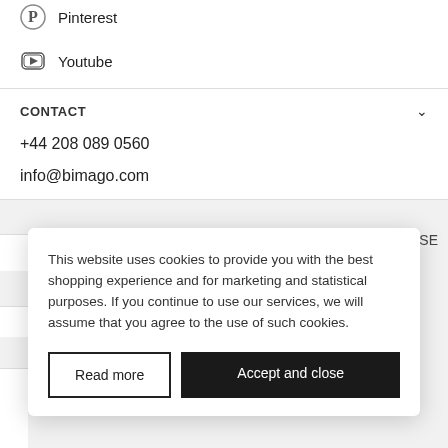Pinterest
Youtube
CONTACT
+44 208 089 0560
info@bimago.com
This website uses cookies to provide you with the best shopping experience and for marketing and statistical purposes. If you continue to use our services, we will assume that you agree to the use of such cookies.
Read more
Accept and close